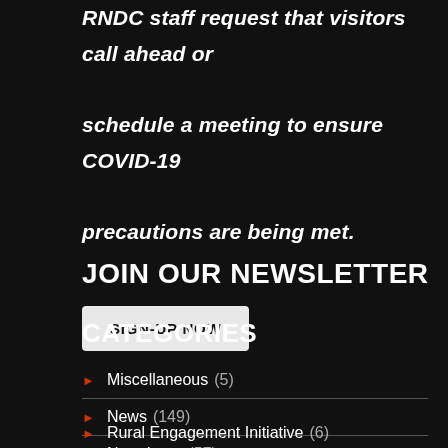RNDC staff request that visitors call ahead or schedule a meeting to ensure COVID-19 precautions are being met.
JOIN OUR NEWSLETTER
SIGN-UP NOW
CATEGORIES
Miscellaneous (5)
News (149)
Newsletter (57)
Rural Engagement Initiative (6)